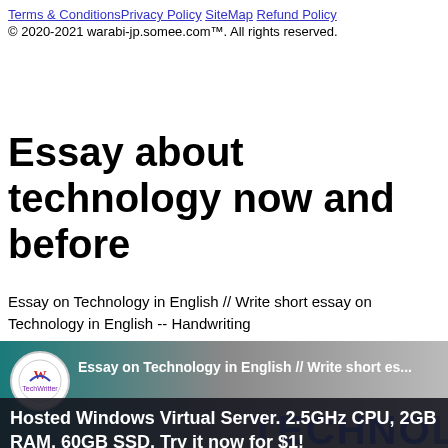Terms & Conditions Privacy Policy SiteMap Refund Policy © 2020-2021 warabi-jp.somee.com™. All rights reserved.
Essay about technology now and before
Essay on Technology in English // Write short essay on Technology in English -- Handwriting
[Figure (photo): Image of handwriting about technology with logo circle, overlay text 'Essay on Technology in English // Write short es...' and large blue text 'TECHNO' on background. Ad banner overlaid at bottom: 'Hosted Windows Virtual Server. 2.5GHz CPU, 2GB RAM, 60GB SSD. Try it now for $1!']